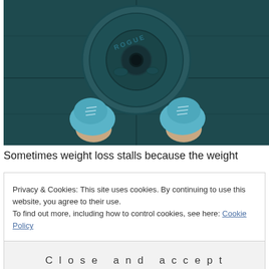[Figure (photo): Overhead view of a person's feet in blue sneakers standing on a dark gym floor next to a large circular weight plate labeled ROGUE]
Sometimes weight loss stalls because the weight
Privacy & Cookies: This site uses cookies. By continuing to use this website, you agree to their use.
To find out more, including how to control cookies, see here: Cookie Policy
Close and accept